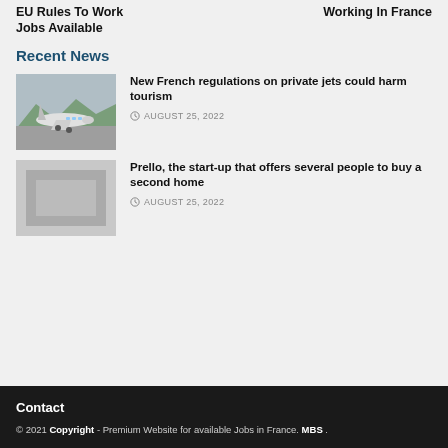EU Rules To Work
Jobs Available
Working In France
Recent News
[Figure (photo): Photograph of a private jet aircraft on a tarmac with mountains in background]
New French regulations on private jets could harm tourism
AUGUST 25, 2022
Prello, the start-up that offers several people to buy a second home
AUGUST 25, 2022
Contact
© 2021 Copyright - Premium Website for available Jobs in France. MBS .